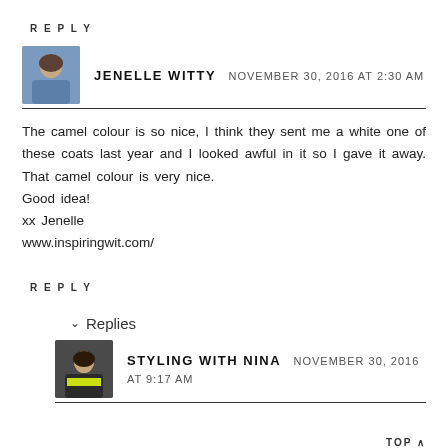REPLY
JENELLE WITTY  NOVEMBER 30, 2016 AT 2:30 AM
The camel colour is so nice, I think they sent me a white one of these coats last year and I looked awful in it so I gave it away. That camel colour is very nice.
Good idea!
xx Jenelle
www.inspiringwit.com/
REPLY
∨ Replies
STYLING WITH NINA  NOVEMBER 30, 2016 AT 9:17 AM